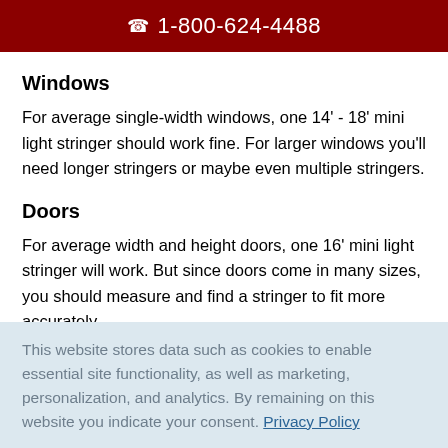☎ 1-800-624-4488
Windows
For average single-width windows, one 14' - 18' mini light stringer should work fine. For larger windows you'll need longer stringers or maybe even multiple stringers.
Doors
For average width and height doors, one 16' mini light stringer will work. But since doors come in many sizes, you should measure and find a stringer to fit more accurately.
This website stores data such as cookies to enable essential site functionality, as well as marketing, personalization, and analytics. By remaining on this website you indicate your consent. Privacy Policy